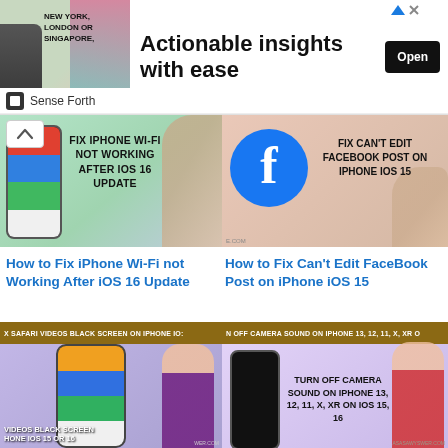[Figure (screenshot): Advertisement banner: image of a man at a conference with text 'NEW YORK, LONDON OR SINGAPORE,' and headline 'Actionable insights with ease' with an 'Open' button. Advertiser: Sense Forth]
[Figure (screenshot): Thumbnail image: Fix iPhone Wi-Fi Not Working After iOS 16 Update]
[Figure (screenshot): Thumbnail image: Fix Can't Edit Facebook Post on iPhone iOS 15]
How to Fix iPhone Wi-Fi not Working After iOS 16 Update
How to Fix Can't Edit FaceBook Post on iPhone iOS 15
[Figure (screenshot): Thumbnail image: Fix Safari Videos Black Screen on iPhone iOS 15 or 16]
[Figure (screenshot): Thumbnail image: Turn Off Camera Sound on iPhone 13, 12, 11, X, XR on iOS 15, 16]